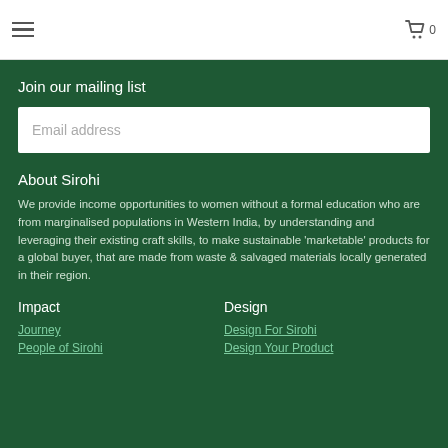☰  🛒 0
Join our mailing list
Email address
About Sirohi
We provide income opportunities to women without a formal education who are from marginalised populations in Western India, by understanding and leveraging their existing craft skills, to make sustainable 'marketable' products for a global buyer, that are made from waste & salvaged materials locally generated in their region.
Impact
Design
Journey
People of Sirohi
Design For Sirohi
Design Your Product